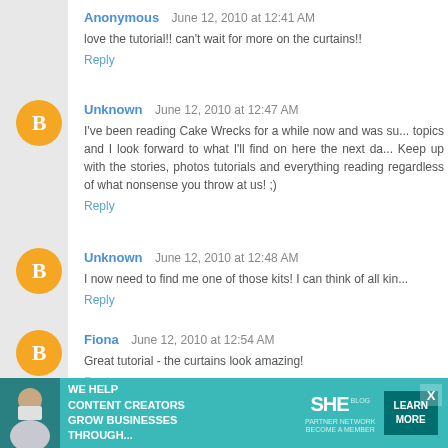Anonymous  June 12, 2010 at 12:41 AM
love the tutorial!! can't wait for more on the curtains!!
Reply
Unknown  June 12, 2010 at 12:47 AM
I've been reading Cake Wrecks for a while now and was su... topics and I look forward to what I'll find on here the next da... Keep up with the stories, photos tutorials and everything... reading regardless of what nonsense you throw at us! ;)
Reply
Unknown  June 12, 2010 at 12:48 AM
I now need to find me one of those kits! I can think of all kin...
Reply
Fiona  June 12, 2010 at 12:54 AM
Great tutorial - the curtains look amazing!
Reply
[Figure (infographic): SHE Media advertisement banner: 'We help content creators grow businesses through...' with SHE Partner Network logo and Learn More button]